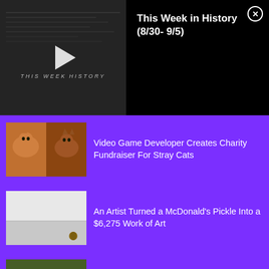[Figure (screenshot): Video player overlay showing 'This Week in History' video thumbnail with play button and title panel]
This Week in History (8/30- 9/5)
[Figure (photo): Two orange cats thumbnail]
Video Game Developer Creates Charity Fundraiser For Stray Cats
[Figure (photo): White ceiling with small pickle spot thumbnail]
An Artist Turned a McDonald's Pickle Into a $6,275 Work of Art
[Figure (photo): Man drinking water in heat thumbnail]
How Hot Is Too Hot for the Human Body to Handle?
TRENDING POSTS
[Figure (photo): Dark interior scene thumbnail for trending post]
All Three of Jordan Peele's Movies Are...